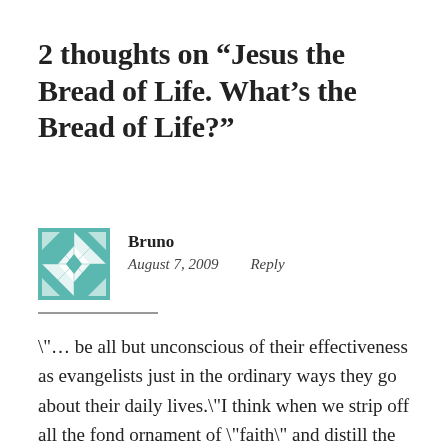2 thoughts on “Jesus the Bread of Life. What’s the Bread of Life?”
[Figure (illustration): Teal/green geometric quilt-style avatar icon for user Bruno]
Bruno
August 7, 2009    Reply
\"... be all but unconscious of their effectiveness as evangelists just in the ordinary ways they go about their daily lives.\"I think when we strip off all the fond ornament of \"faith\" and distill the